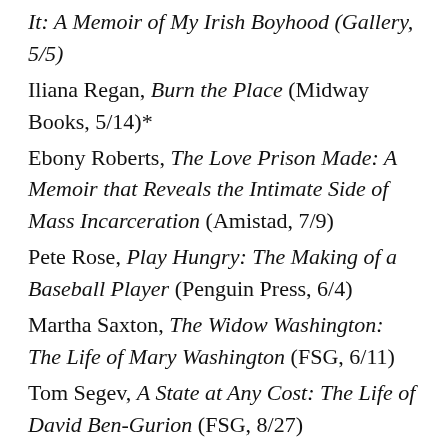It: A Memoir of My Irish Boyhood (Gallery, 5/5)
Iliana Regan, Burn the Place (Midway Books, 5/14)*
Ebony Roberts, The Love Prison Made: A Memoir that Reveals the Intimate Side of Mass Incarceration (Amistad, 7/9)
Pete Rose, Play Hungry: The Making of a Baseball Player (Penguin Press, 6/4)
Martha Saxton, The Widow Washington: The Life of Mary Washington (FSG, 6/11)
Tom Segev, A State at Any Cost: The Life of David Ben-Gurion (FSG, 8/27)
Isha Sesay, Beneath the Tamarind Tree: A Story of Courage, Family, and the Lost Schoolgirls of Boko Haram (Dey Street, 7/9)
John Paul Stevens, The Making of a Justice: